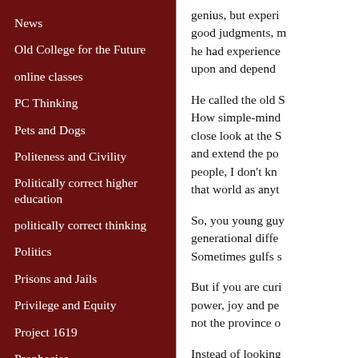News
Old College for the Future
online classes
PC Thinking
Pets and Dogs
Politeness and Civility
Politically correct higher education
politically correct thinking
Politics
Prisons and Jails
Privilege and Equity
Project 1619
Prophecies
racism
genius, but experi good judgments, m he had experience upon and depend
He called the old S How simple-mind close look at the S and extend the po people, I don't kn that world as anyt
So, you young guy generational diffe Sometimes gulfs s
But if you are curi power, joy and pe not the province o
Instead of looking questions, turn to all are gurus and f